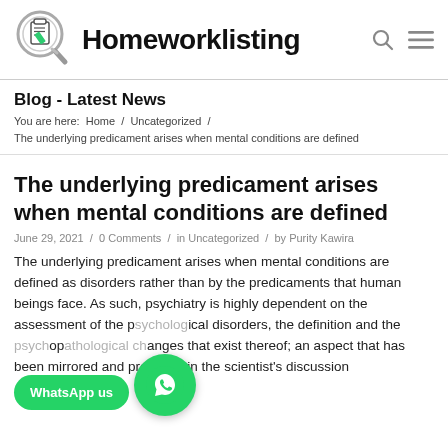[Figure (logo): Homeworklisting logo with magnifying glass icon and bold text]
Blog - Latest News
You are here:  Home  /  Uncategorized  /
The underlying predicament arises when mental conditions are defined
The underlying predicament arises when mental conditions are defined
June 29, 2021  /  0 Comments  /  in Uncategorized  /  by Purity Kawira
The underlying predicament arises when mental conditions are defined as disorders rather than by the predicaments that human beings face. As such, psychiatry is highly dependent on the assessment of the psychological disorders, the definition and the psychopathological changes that exist thereof; an aspect that has been mirrored and projected in the scientist's discussion